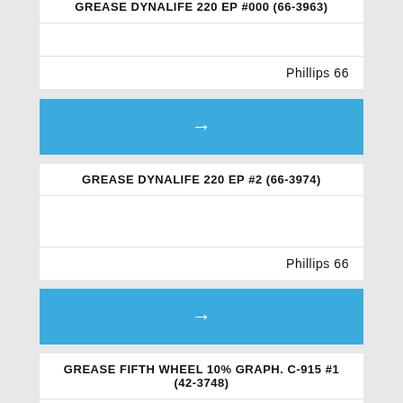GREASE DYNALIFE 220 EP #000 (66-3963)
Phillips 66
[Figure (other): Blue navigation arrow bar]
GREASE DYNALIFE 220 EP #2 (66-3974)
Phillips 66
[Figure (other): Blue navigation arrow bar]
GREASE FIFTH WHEEL 10% GRAPH. C-915 #1 (42-3748)